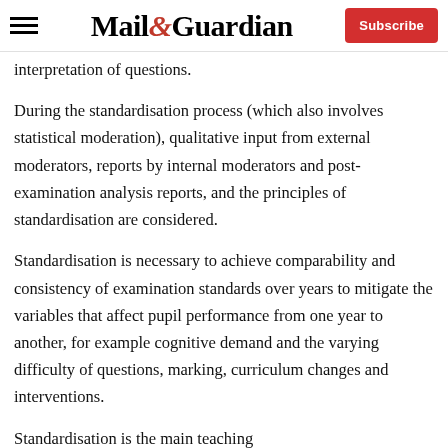Mail&Guardian | Subscribe
interpretation of questions.
During the standardisation process (which also involves statistical moderation), qualitative input from external moderators, reports by internal moderators and post-examination analysis reports, and the principles of standardisation are considered.
Standardisation is necessary to achieve comparability and consistency of examination standards over years to mitigate the variables that affect pupil performance from one year to another, for example cognitive demand and the varying difficulty of questions, marking, curriculum changes and interventions.
Standardisation is the main teaching...